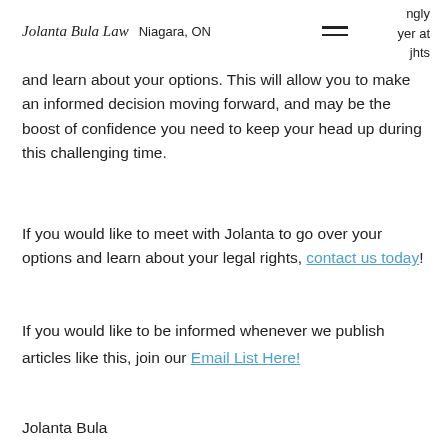Jolanta Bula Law  Niagara, ON
ngly yer at jhts and learn about your options. This will allow you to make an informed decision moving forward, and may be the boost of confidence you need to keep your head up during this challenging time.
If you would like to meet with Jolanta to go over your options and learn about your legal rights, contact us today!
If you would like to be informed whenever we publish articles like this, join our Email List Here!
Jolanta Bula